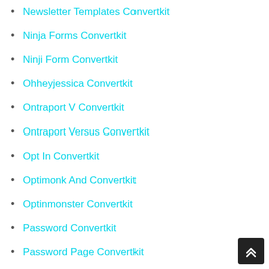Newsletter Templates Convertkit
Ninja Forms Convertkit
Ninji Form Convertkit
Ohheyjessica Convertkit
Ontraport V Convertkit
Ontraport Versus Convertkit
Opt In Convertkit
Optimonk And Convertkit
Optinmonster Convertkit
Password Convertkit
Password Page Convertkit